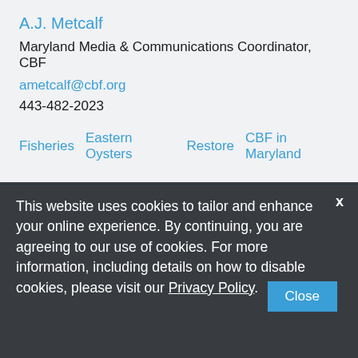A.J. Metcalf
Maryland Media & Communications Coordinator, CBF
ametcalf@cbf.org
443-482-2023
Fisheries   Eastern Oysters   Restore   CBF in Maryland
This website uses cookies to tailor and enhance your online experience. By continuing, you are agreeing to our use of cookies. For more information, including details on how to disable cookies, please visit our Privacy Policy.